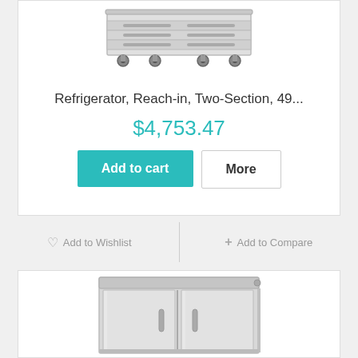[Figure (photo): A stainless steel commercial reach-in refrigerator drawer unit on casters, viewed from above/front angle]
Refrigerator, Reach-in, Two-Section, 49...
$4,753.47
Add to cart
More
♡ Add to Wishlist
+ Add to Compare
[Figure (photo): A stainless steel two-door commercial reach-in refrigerator, front view]